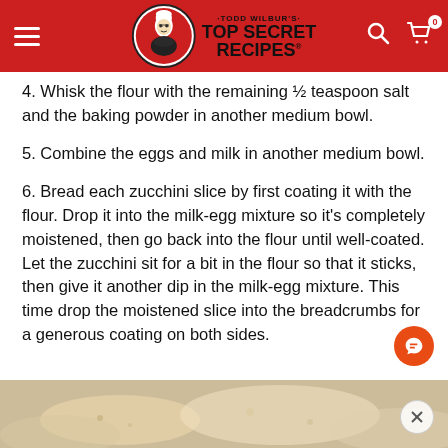Todd Wilbur's Top Secret Recipes
4. Whisk the flour with the remaining 1/2 teaspoon salt and the baking powder in another medium bowl.
5. Combine the eggs and milk in another medium bowl.
6. Bread each zucchini slice by first coating it with the flour. Drop it into the milk-egg mixture so it's completely moistened, then go back into the flour until well-coated. Let the zucchini sit for a bit in the flour so that it sticks, then give it another dip in the milk-egg mixture. This time drop the moistened slice into the breadcrumbs for a generous coating on both sides.
[Figure (photo): Partial view of a breaded zucchini dish at the bottom of the page]